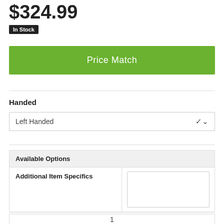$324.99
In Stock
Price Match
Handed
Left Handed
| Available Options |  |
| --- | --- |
| Additional Item Specifics |  |
1